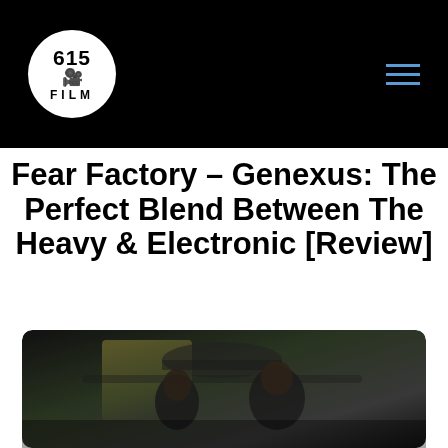[Figure (logo): 615 Film logo: white circle on black background with '615', camera icon, and 'FILM' text]
Fear Factory – Genexus: The Perfect Blend Between The Heavy & Electronic [Review]
by Keven Skinner | Aug 12, 2015
[Figure (photo): Two people (a woman and a man) in dark industrial setting, photograph associated with Fear Factory Genexus review]